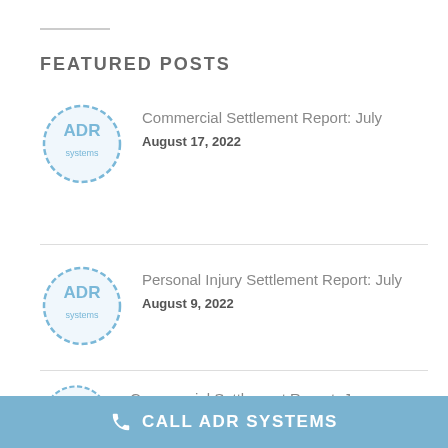FEATURED POSTS
[Figure (logo): ADR Systems circular logo in light blue]
Commercial Settlement Report: July
August 17, 2022
[Figure (logo): ADR Systems circular logo in light blue]
Personal Injury Settlement Report: July
August 9, 2022
[Figure (logo): ADR Systems circular logo in light blue (partially visible)]
Commercial Settlement Report: June
CALL ADR SYSTEMS